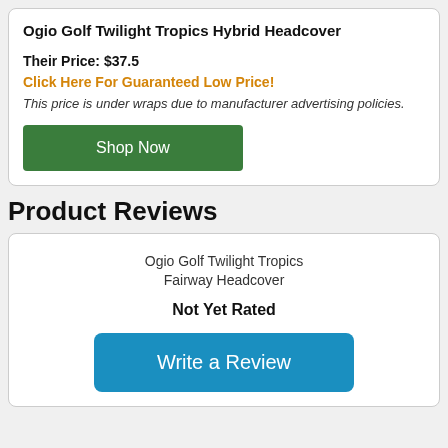Ogio Golf Twilight Tropics Hybrid Headcover
Their Price: $37.5
Click Here For Guaranteed Low Price!
This price is under wraps due to manufacturer advertising policies.
Shop Now
Product Reviews
Ogio Golf Twilight Tropics Fairway Headcover
Not Yet Rated
Write a Review